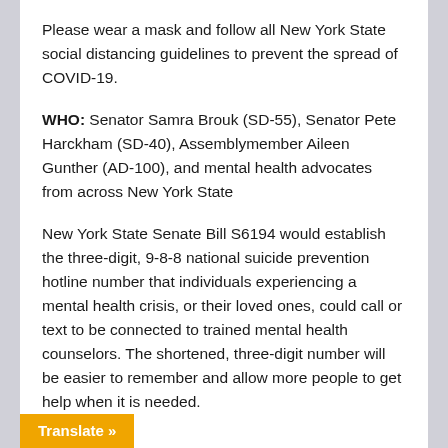Please wear a mask and follow all New York State social distancing guidelines to prevent the spread of COVID-19.
WHO: Senator Samra Brouk (SD-55), Senator Pete Harckham (SD-40), Assemblymember Aileen Gunther (AD-100), and mental health advocates from across New York State
New York State Senate Bill S6194 would establish the three-digit, 9-8-8 national suicide prevention hotline number that individuals experiencing a mental health crisis, or their loved ones, could call or text to be connected to trained mental health counselors. The shortened, three-digit number will be easier to remember and allow more people to get help when it is needed.
Translate »